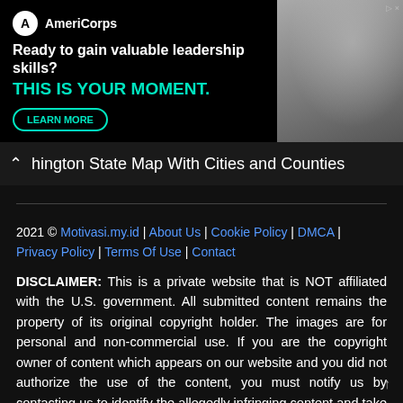[Figure (infographic): AmeriCorps advertisement banner with dark background. Logo with circle A icon and AmeriCorps text. Tagline: 'Ready to gain valuable leadership skills? THIS IS YOUR MOMENT.' with a LEARN MORE button and photo of people on the right.]
hington State Map With Cities and Counties
2021 © Motivasi.my.id | About Us | Cookie Policy | DMCA | Privacy Policy | Terms Of Use | Contact
DISCLAIMER: This is a private website that is NOT affiliated with the U.S. government. All submitted content remains the property of its original copyright holder. The images are for personal and non-commercial use. If you are the copyright owner of content which appears on our website and you did not authorize the use of the content, you must notify us by contacting us to identify the allegedly infringing content and take action.